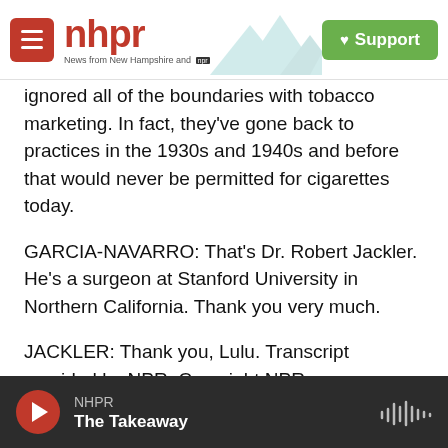nhpr — News from New Hampshire and NPR | Support
ignored all of the boundaries with tobacco marketing. In fact, they've gone back to practices in the 1930s and 1940s and before that would never be permitted for cigarettes today.
GARCIA-NAVARRO: That's Dr. Robert Jackler. He's a surgeon at Stanford University in Northern California. Thank you very much.
JACKLER: Thank you, Lulu. Transcript provided by NPR, Copyright NPR.
National
NHPR — The Takeaway